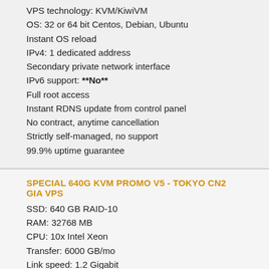VPS technology: KVM/KiwiVM
OS: 32 or 64 bit Centos, Debian, Ubuntu
Instant OS reload
IPv4: 1 dedicated address
Secondary private network interface
IPv6 support: **No**
Full root access
Instant RDNS update from control panel
No contract, anytime cancellation
Strictly self-managed, no support
99.9% uptime guarantee
SPECIAL 640G KVM PROMO V5 - TOKYO CN2 GIA VPS
SSD: 640 GB RAID-10
RAM: 32768 MB
CPU: 10x Intel Xeon
Transfer: 6000 GB/mo
Link speed: 1.2 Gigabit